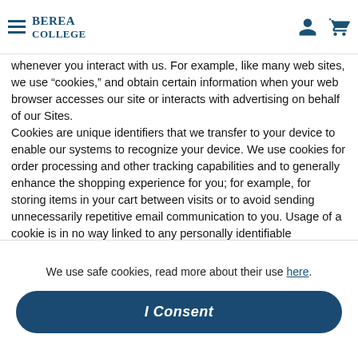Berea College
whenever you interact with us. For example, like many web sites, we use “cookies,” and obtain certain information when your web browser accesses our site or interacts with advertising on behalf of our Sites. Cookies are unique identifiers that we transfer to your device to enable our systems to recognize your device. We use cookies for order processing and other tracking capabilities and to generally enhance the shopping experience for you; for example, for storing items in your cart between visits or to avoid sending unnecessarily repetitive email communication to you. Usage of a cookie is in no way linked to any personally identifiable information while on our Sites.
To make our emails to you more useful and interesting, we may receive a confirmation if you open one of our communications if your device supports such capabilities.
We use safe cookies, read more about their use here.
I Consent